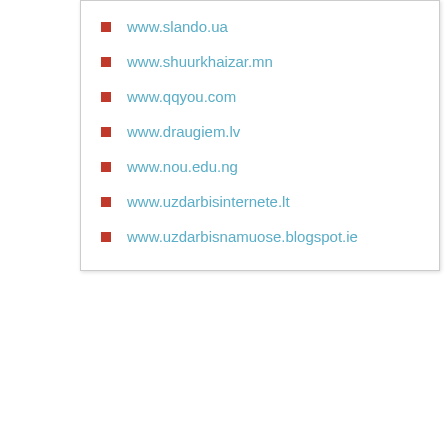www.slando.ua
www.shuurkhaizar.mn
www.qqyou.com
www.draugiem.lv
www.nou.edu.ng
www.uzdarbisinternete.lt
www.uzdarbisnamuose.blogspot.ie